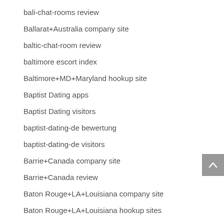bali-chat-rooms review
Ballarat+Australia company site
baltic-chat-room review
baltimore escort index
Baltimore+MD+Maryland hookup site
Baptist Dating apps
Baptist Dating visitors
baptist-dating-de bewertung
baptist-dating-de visitors
Barrie+Canada company site
Barrie+Canada review
Baton Rouge+LA+Louisiana company site
Baton Rouge+LA+Louisiana hookup sites
baton-rouge escort index
baton-rouge escort near me